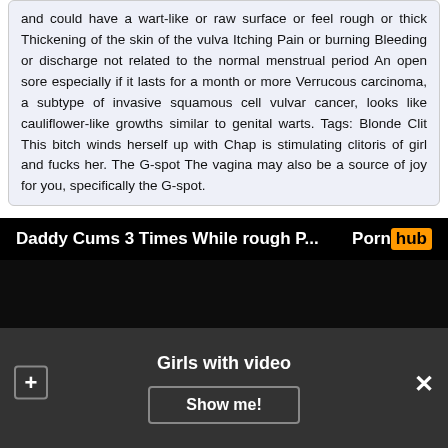and could have a wart-like or raw surface or feel rough or thick Thickening of the skin of the vulva Itching Pain or burning Bleeding or discharge not related to the normal menstrual period An open sore especially if it lasts for a month or more Verrucous carcinoma, a subtype of invasive squamous cell vulvar cancer, looks like cauliflower-like growths similar to genital warts. Tags: Blonde Clit This bitch winds herself up with Chap is stimulating clitoris of girl and fucks her. The G-spot The vagina may also be a source of joy for you, specifically the G-spot.
[Figure (screenshot): Pornhub video embed titled 'Daddy Cums 3 Times While rough P...' with black video player area]
Girls with video
Show me!